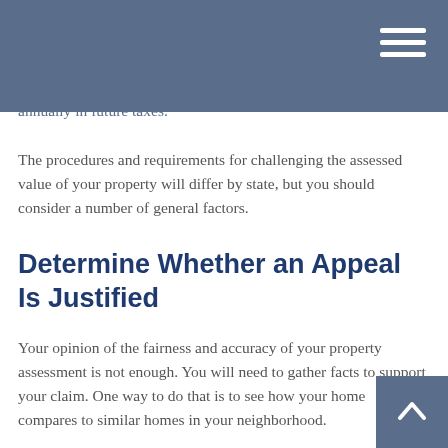annually in future taxes.
The procedures and requirements for challenging the assessed value of your property will differ by state, but you should consider a number of general factors.
Determine Whether an Appeal Is Justified
Your opinion of the fairness and accuracy of your property assessment is not enough. You will need to gather facts to support your claim. One way to do that is to see how your home compares to similar homes in your neighborhood.
Check to see if there are any obvious errors (e.g., is the square footage incorrect?). If you have found an outright error, you may be able to simply bring it to the assessor's attention and get it corrected.